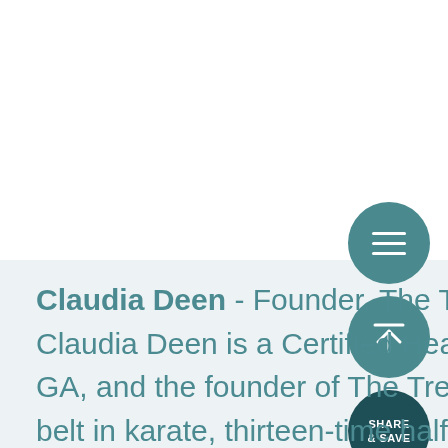[Figure (screenshot): Teal circular menu button with three horizontal lines (hamburger icon)]
[Figure (screenshot): Teal circular scroll-to-top button with upward arrow icon and horizontal line above it]
[Figure (screenshot): Dark teal circular SHARE & SAVE button]
Claudia Deen - Founder, The Trendy Smoothie Claudia Deen is a Certified Health Coach based in Savannah, GA, and the founder of The Trendy Smoothie. Claudia is a brown belt in karate, thirteen-time half-marathon finisher,